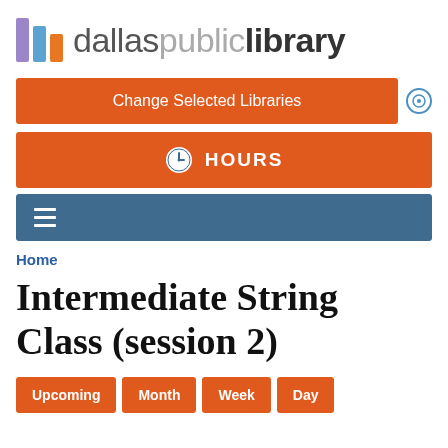[Figure (logo): Dallas Public Library logo with three colored vertical bars (purple, blue, orange) and text 'dallaspubliclibrary' in gray and dark.]
Change Selected Libraries
HOURS
≡
Home
Intermediate String Class (session 2)
Upcoming  Month  Week  Day